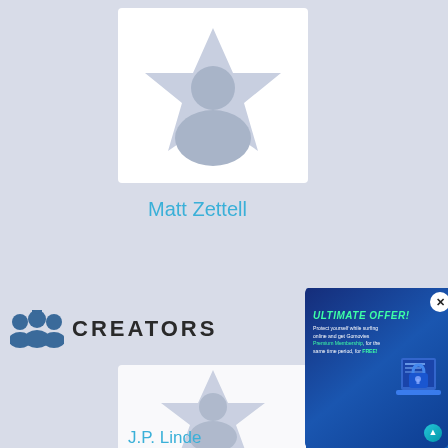[Figure (screenshot): Website page background showing a content creator listing page with a light blue-gray background, user avatar placeholder cards, and creator names]
Matt Zettell
CREATORS
[Figure (infographic): Popup advertisement overlay with dark blue gradient background. Title: ULTIMATE OFFER! Body text: Protect yourself while surfing online and get Gomovies Premium Membership, for the same time period, for FREE! Decorative lock/security illustration on right side. Close (X) button in top right corner. Teal scroll-to-top arrow button at bottom right.]
J.P. Linde
George G. Gomez